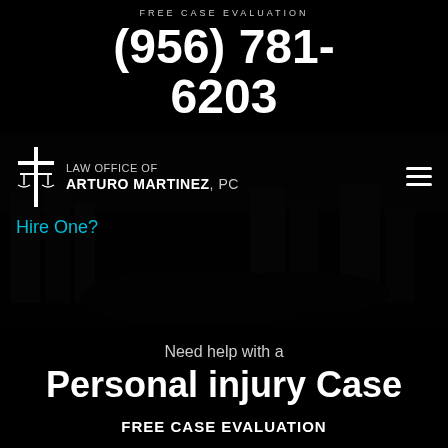FREE CASE EVALUATION
(956) 781-6203
[Figure (screenshot): Law Office of Arturo Martinez PC website header with logo (scales of justice and cross), navigation hamburger menu, hero image showing dark car wreck scene, and partially visible text 'Hire One?']
Hire One?
Need help with a
Personal injury Case
FREE CASE EVALUATION